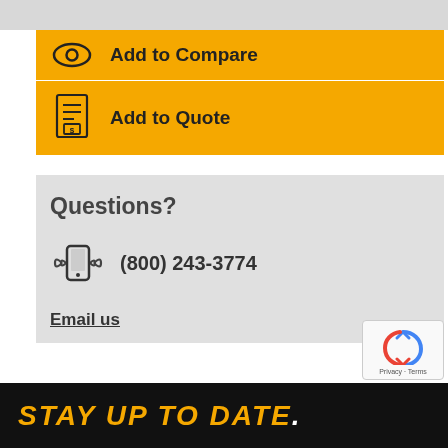Add to Compare
Add to Quote
Questions?
(800) 243-3774
Email us
STAY UP TO DATE.